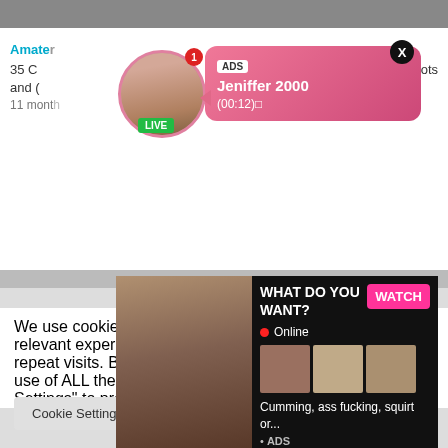[Figure (screenshot): Top image bar (gray/photo strip)]
Amate
35 C
and (
11 mont
hots
[Figure (photo): Avatar circle with woman selfie photo, LIVE badge, notification badge]
[Figure (screenshot): ADS popup bubble: ADS label, Jeniffer 2000, (00:12), close X button]
[Figure (screenshot): Large ad overlay: woman photo, WHAT DO YOU WANT? WATCH button, Online indicator, thumbnail images, Cumming, ass fucking, squirt or... ADS]
We use cookies on our website to give you the most relevant experience by remembering your preferences and repeat visits. By clicking "Accept All", you consent to the use of ALL the cookies. However, you may visit "Cookie Settings" to provide a controlled consent.
Cookie Settings
Accept All